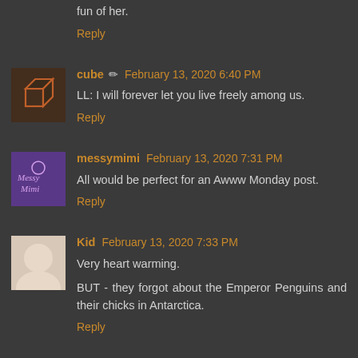fun of her.
Reply
cube ✏ February 13, 2020 6:40 PM
LL: I will forever let you live freely among us.
Reply
messymimi February 13, 2020 7:31 PM
All would be perfect for an Awww Monday post.
Reply
Kid February 13, 2020 7:33 PM
Very heart warming.
BUT - they forgot about the Emperor Penguins and their chicks in Antarctica.
Reply